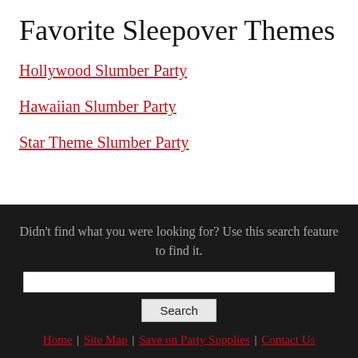Favorite Sleepover Themes
Hollywood Slumber Party
Hawaiian Slumber Party
Star Theme Slumber Party
Didn't find what you were looking for? Use this search feature to find it.
Home | Site Map | Save on Party Supplies | Contact Us